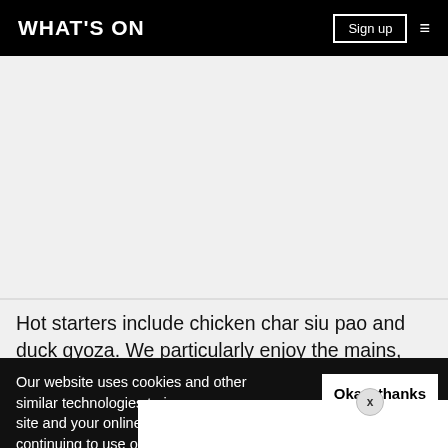WHAT'S ON
[Figure (other): Empty light gray content area placeholder]
Hot starters include chicken char siu pao and duck gyoza. We particularly enjoy the mains, which consist of grilled sea
Our website uses cookies and other similar technologies to improve our site and your online experience. By continuing to use our website you consen... our pr...